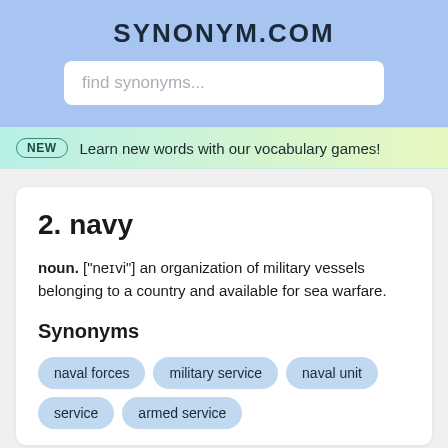SYNONYM.COM
find synonyms...
NEW  Learn new words with our vocabulary games!
2. navy
noun. ["neɪvi"] an organization of military vessels belonging to a country and available for sea warfare.
Synonyms
naval forces
military service
naval unit
service
armed service